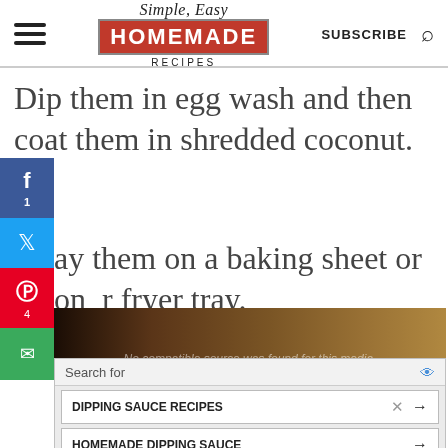Simple, Easy Homemade Recipes | SUBSCRIBE
Dip them in egg wash and then coat them in shredded coconut.
ay them on a baking sheet or on r fryer tray.
[Figure (photo): Food photo partially obscured with media player overlay showing 'No compatible source was found for this media.']
Search for
DIPPING SAUCE RECIPES →
HOMEMADE DIPPING SAUCE →
Ad | Business Focus SWEET & SOUR